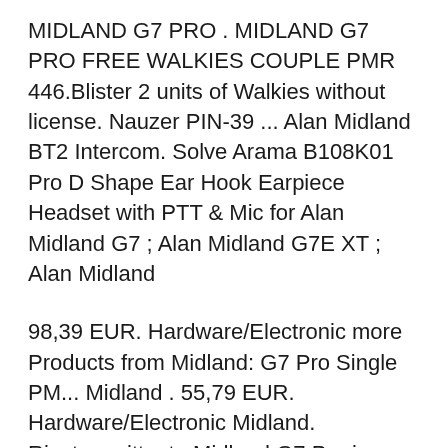MIDLAND G7 PRO . MIDLAND G7 PRO FREE WALKIES COUPLE PMR 446.Blister 2 units of Walkies without license. Nauzer PIN-39 ... Alan Midland BT2 Intercom. Solve Arama B108K01 Pro D Shape Ear Hook Earpiece Headset with PTT & Mic for Alan Midland G7 ; Alan Midland G7E XT ; Alan Midland
98,39 EUR. Hardware/Electronic more Products from Midland: G7 Pro Single PM... Midland . 55,79 EUR. Hardware/Electronic Midland. Ricetrasmittente Midland G7 Pro in versione mimetic. Caratteristiche principali: Dual Band PMR446/LPD, 8 canali PMR446/69 canali...